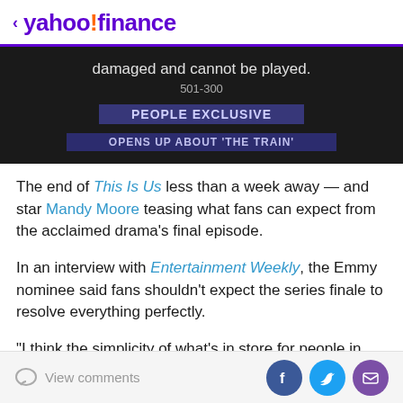< yahoo!finance
[Figure (screenshot): Dark video player screenshot showing error text 'damaged and cannot be played.' with code '501-300' and overlay banners reading 'PEOPLE EXCLUSIVE' and partially visible text about 'THE TRAIN']
The end of This Is Us less than a week away — and star Mandy Moore teasing what fans can expect from the acclaimed drama's final episode.
In an interview with Entertainment Weekly, the Emmy nominee said fans shouldn't expect the series finale to resolve everything perfectly.
"I think the simplicity of what's in store for people in
View comments